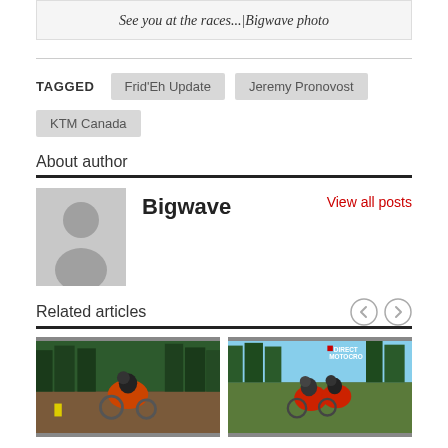See you at the races...|Bigwave photo
TAGGED  Frid'Eh Update  Jeremy Pronovost  KTM Canada
About author
Bigwave  View all posts
Related articles
[Figure (photo): Motocross rider on dirt track, trees in background]
[Figure (photo): Two motocross riders on dirt track, trees and sky in background, Direct Motocross watermark]